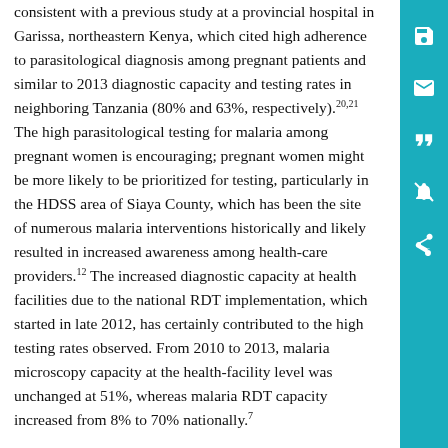consistent with a previous study at a provincial hospital in Garissa, northeastern Kenya, which cited high adherence to parasitological diagnosis among pregnant patients and similar to 2013 diagnostic capacity and testing rates in neighboring Tanzania (80% and 63%, respectively).20,21 The high parasitological testing for malaria among pregnant women is encouraging; pregnant women might be more likely to be prioritized for testing, particularly in the HDSS area of Siaya County, which has been the site of numerous malaria interventions historically and likely resulted in increased awareness among health-care providers.12 The increased diagnostic capacity at health facilities due to the national RDT implementation, which started in late 2012, has certainly contributed to the high testing rates observed. From 2010 to 2013, malaria microscopy capacity at the health-facility level was unchanged at 51%, whereas malaria RDT capacity increased from 8% to 70% nationally.7
In Kenya, only registered health facilities are officially allowed to provide diagnostic testing, including malaria RDTs. Private-sector drug outlets, including registered pharmacies that are licensed to sell medications, are not licensed to provide point-of-service diagnostic testing.18 Thus, diagnostic capacity in drug outlets was